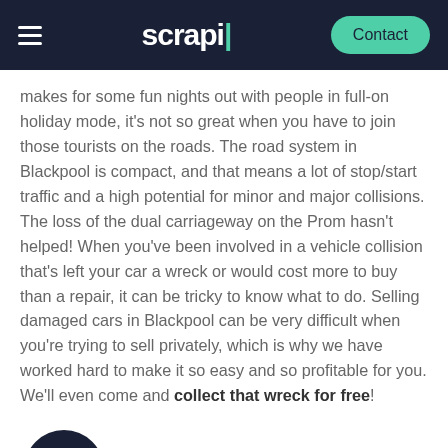scrapi | Contact
makes for some fun nights out with people in full-on holiday mode, it's not so great when you have to join those tourists on the roads. The road system in Blackpool is compact, and that means a lot of stop/start traffic and a high potential for minor and major collisions. The loss of the dual carriageway on the Prom hasn't helped! When you've been involved in a vehicle collision that's left your car a wreck or would cost more to buy than a repair, it can be tricky to know what to do. Selling damaged cars in Blackpool can be very difficult when you're trying to sell privately, which is why we have worked hard to make it so easy and so profitable for you. We'll even come and collect that wreck for free!
You're getting too old to drive